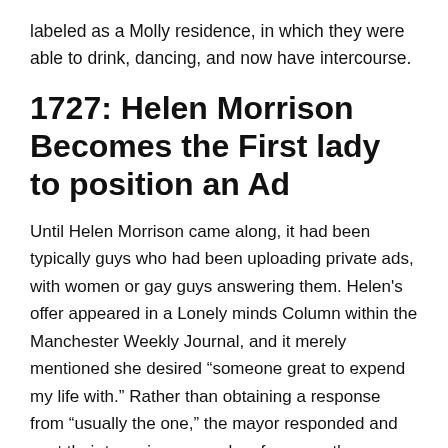labeled as a Molly residence, in which they were able to drink, dancing, and now have intercourse.
1727: Helen Morrison Becomes the First lady to position an Ad
Until Helen Morrison came along, it had been typically guys who had been uploading private ads, with women or gay guys answering them. Helen's offer appeared in a Lonely minds Column within the Manchester Weekly Journal, and it merely mentioned she desired “someone great to expend my life with.” Rather than obtaining a response from “usually the one,” the mayor responded and sent their to an insane asylum for a month, according to a write-up when you look at the Huffington article. Imagine she should not have now been thus ahead, huh?</sarcasm>